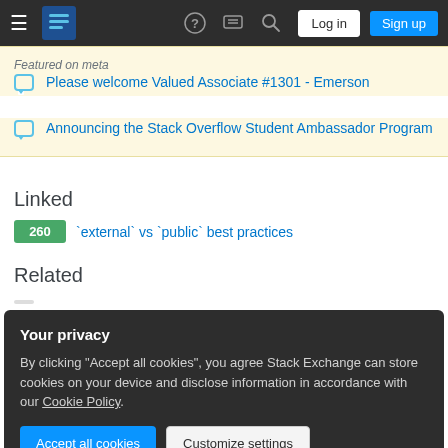Stack Exchange navigation bar with Log in and Sign up buttons
Featured on meta
Please welcome Valued Associate #1301 - Emerson
Announcing the Stack Overflow Student Ambassador Program
Linked
260 `external` vs `public` best practices
Related
Your privacy
By clicking "Accept all cookies", you agree Stack Exchange can store cookies on your device and disclose information in accordance with our Cookie Policy.
Accept all cookies  Customize settings